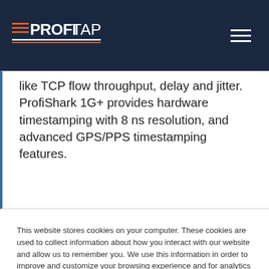[Figure (logo): Profitap logo — white text PROFI TAP with orange and white horizontal lines on dark navy background, with hamburger menu icon on the right]
like TCP flow throughput, delay and jitter. ProfiShark 1G+ provides hardware timestamping with 8 ns resolution, and advanced GPS/PPS timestamping features.
This website stores cookies on your computer. These cookies are used to collect information about how you interact with our website and allow us to remember you. We use this information in order to improve and customize your browsing experience and for analytics and metrics about our visitors both on this website and other media. To find out more about the cookies we use, see our Privacy Policy.